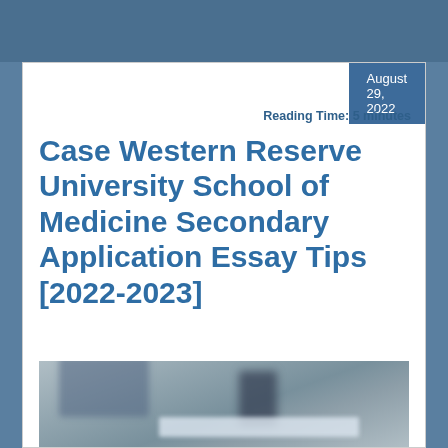August 29, 2022
Reading Time: 5 minutes
Case Western Reserve University School of Medicine Secondary Application Essay Tips [2022-2023]
[Figure (photo): Blurred photo of a desk or medical/study environment with dark object in background]